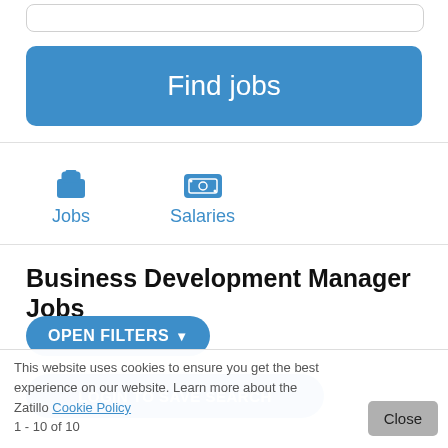[Figure (screenshot): Top search bar (partially visible, white rounded rectangle)]
[Figure (screenshot): Blue 'Find jobs' button]
[Figure (screenshot): Navigation row with Jobs and Salaries icons and labels]
Business Development Manager Jobs
[Figure (screenshot): Blue 'OPEN FILTERS' dropdown button]
[Figure (screenshot): Blue 'LOGIN TO SAVE SEARCH' button]
This website uses cookies to ensure you get the best experience on our website. Learn more about the Zatillo Cookie Policy
1 - 10 of 10
[Figure (screenshot): Gray 'Close' button in cookie banner]